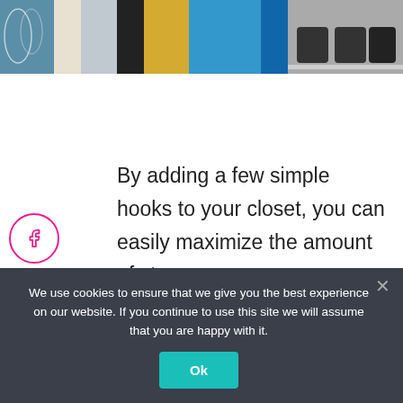[Figure (photo): A colorful organized closet with clothes, jewelry, and shoes visible on shelves]
By adding a few simple hooks to your closet, you can easily maximize the amount of storage space.
There are a number of different types of hooks that
We use cookies to ensure that we give you the best experience on our website. If you continue to use this site we will assume that you are happy with it.
Ok